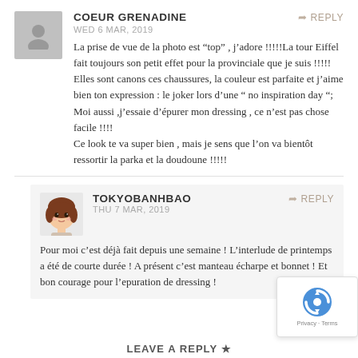[Figure (illustration): Grey placeholder avatar silhouette for user Coeur Grenadine]
COEUR GRENADINE
WED 6 MAR, 2019
REPLY
La prise de vue de la photo est “top” , j’adore !!!!!La tour Eiffel fait toujours son petit effet pour la provinciale que je suis !!!!! Elles sont canons ces chaussures, la couleur est parfaite et j’aime bien ton expression : le joker lors d’une “ no inspiration day “; Moi aussi ,j’essaie d’épurer mon dressing , ce n’est pas chose facile !!!!
Ce look te va super bien , mais je sens que l’on va bientôt ressortir la parka et la doudoune !!!!!
[Figure (illustration): Cartoon avatar of a girl with brown bob hair for user Tokyobanhbao]
TOKYOBANHBAO
THU 7 MAR, 2019
REPLY
Pour moi c’est déjà fait depuis une semaine ! L’interlude de printemps a été de courte durée ! A présent c’est manteau écharpe et bonnet ! Et bon courage pour l’epuration de dressing !
LEAVE A REPLY